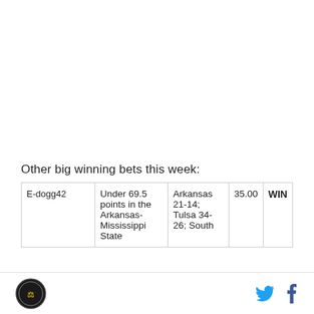Other big winning bets this week:
| E-dogg42 | Under 69.5 points in the Arkansas-Mississippi State… | Arkansas 21-14; Tulsa 34-26; South… | 35.00 | WIN |
Site logo | Twitter | Facebook